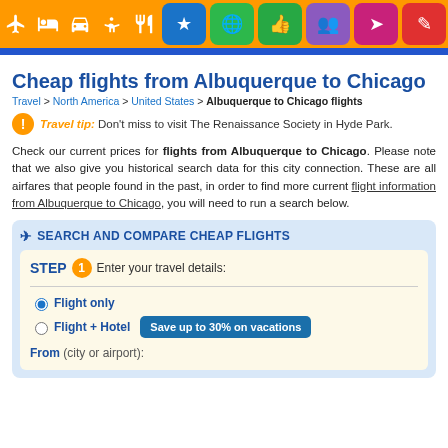[Figure (screenshot): Navigation bar with travel category icons on orange background and colored buttons]
Cheap flights from Albuquerque to Chicago
Travel > North America > United States > Albuquerque to Chicago flights
Travel tip: Don't miss to visit The Renaissance Society in Hyde Park.
Check our current prices for flights from Albuquerque to Chicago. Please note that we also give you historical search data for this city connection. These are all airfares that people found in the past, in order to find more current flight information from Albuquerque to Chicago, you will need to run a search below.
SEARCH AND COMPARE CHEAP FLIGHTS
STEP 1 Enter your travel details:
Flight only
Flight + Hotel  Save up to 30% on vacations
From (city or airport):